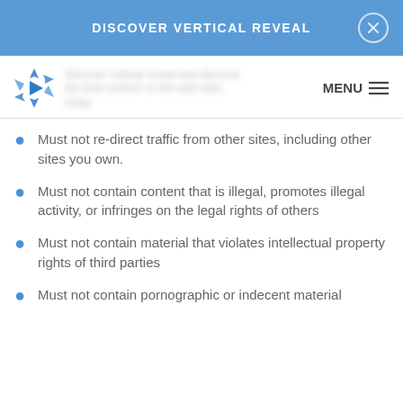DISCOVER VERTICAL REVEAL
Must not re-direct traffic from other sites, including other sites you own.
Must not contain content that is illegal, promotes illegal activity, or infringes on the legal rights of others
Must not contain material that violates intellectual property rights of third parties
Must not contain pornographic or indecent material